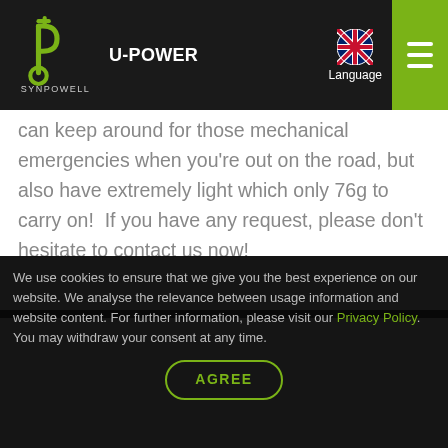U-POWER | SYNPOWELL | Language
can keep around for those mechanical emergencies when you're out on the road, but also have extremely light which only 76g to carry on!  If you have any request, please don't hesitate to contact us now!
[Figure (photo): Close-up photo of a multi-tool or mechanical key tool on a dark background, showing metal components including a key bit and screwdriver on a black body]
We use cookies to ensure that we give you the best experience on our website. We analyse the relevance between usage information and website content. For further information, please visit our Privacy Policy. You may withdraw your consent at any time.
AGREE